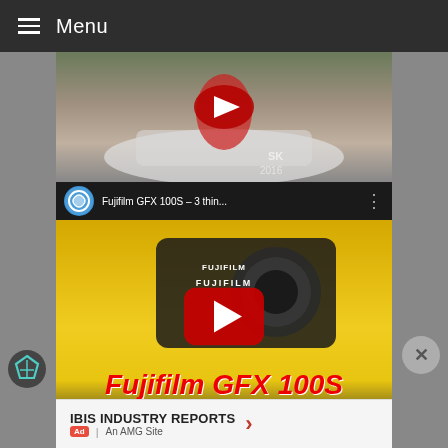≡ Menu
[Figure (screenshot): YouTube video thumbnail showing woman in red dress with vintage white car, with YouTube play button overlay]
[Figure (screenshot): YouTube video panel titled 'Fujifilm GFX 100S – 3 thin...' showing Fujifilm camera on yellow background with red play button. Text overlay reads 'Fujifilm GFX 100S Three things you may have missed!']
[Figure (screenshot): YouTube video entry showing FUJIFILM X|GFX logo and title 'Introducing FUJIFILM GFX...']
IBIS INDUSTRY REPORTS
Ad | An AMG Site